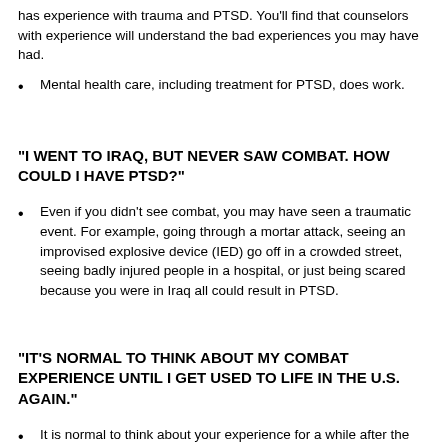has experience with trauma and PTSD. You'll find that counselors with experience will understand the bad experiences you may have had.
Mental health care, including treatment for PTSD, does work.
"I WENT TO IRAQ, BUT NEVER SAW COMBAT. HOW COULD I HAVE PTSD?"
Even if you didn't see combat, you may have seen a traumatic event. For example, going through a mortar attack, seeing an improvised explosive device (IED) go off in a crowded street, seeing badly injured people in a hospital, or just being scared because you were in Iraq all could result in PTSD.
"IT'S NORMAL TO THINK ABOUT MY COMBAT EXPERIENCE UNTIL I GET USED TO LIFE IN THE U.S. AGAIN."
It is normal to think about your experience for a while after the event. But if you're still thinking about it several months after the event, or if it's disturbing your life, you may want to seek help.